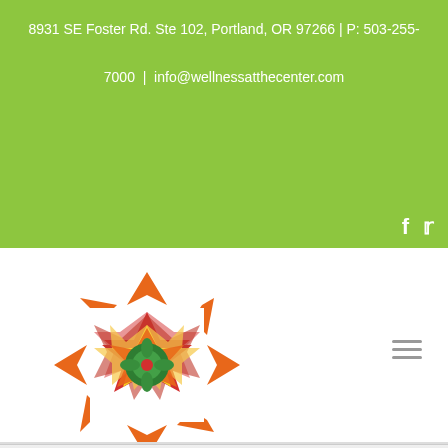8931 SE Foster Rd. Ste 102, Portland, OR 97266 | P: 503-255-7000 | info@wellnessatthecenter.com
[Figure (logo): Colorful mandala-style star logo in red, orange, yellow, and green on white square background]
Dr. Dixie
Home
About Dixie Small